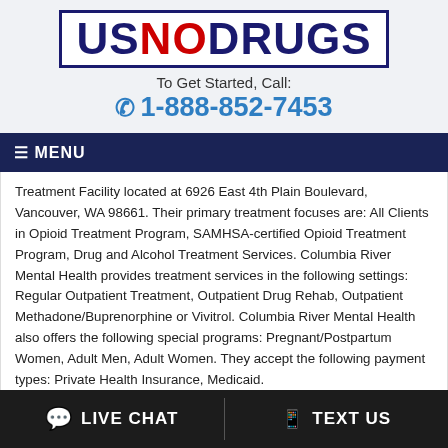[Figure (logo): USNODRUGS logo — US and DRUGS in dark navy, NO in red, inside a navy border box]
To Get Started, Call:
1-888-852-7453
≡ MENU
Treatment Facility located at 6926 East 4th Plain Boulevard, Vancouver, WA 98661. Their primary treatment focuses are: All Clients in Opioid Treatment Program, SAMHSA-certified Opioid Treatment Program, Drug and Alcohol Treatment Services. Columbia River Mental Health provides treatment services in the following settings: Regular Outpatient Treatment, Outpatient Drug Rehab, Outpatient Methadone/Buprenorphine or Vivitrol. Columbia River Mental Health also offers the following special programs: Pregnant/Postpartum Women, Adult Men, Adult Women. They accept the following payment types: Private Health Insurance, Medicaid.
💬 LIVE CHAT   🖁 TEXT US